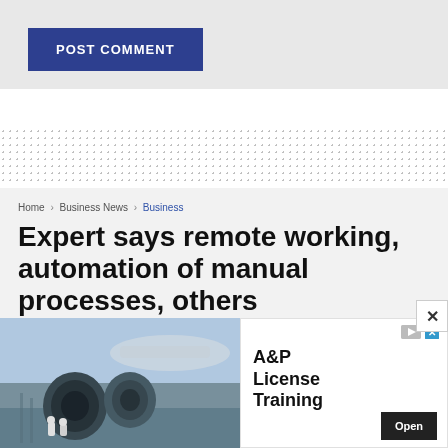POST COMMENT
[Figure (screenshot): Dotted pattern background divider]
Home > Business News > Business
Expert says remote working, automation of manual processes, others
[Figure (photo): Advertisement showing aircraft jet engines with two workers in safety gear. Ad text: A&P License Training. Aviation Institute. Open button.]